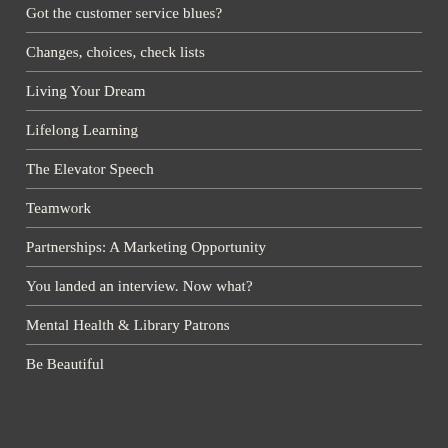Got the customer service blues?
Changes, choices, check lists
Living Your Dream
Lifelong Learning
The Elevator Speech
Teamwork
Partnerships: A Marketing Opportunity
You landed an interview. Now what?
Mental Health & Library Patrons
Be Beautiful